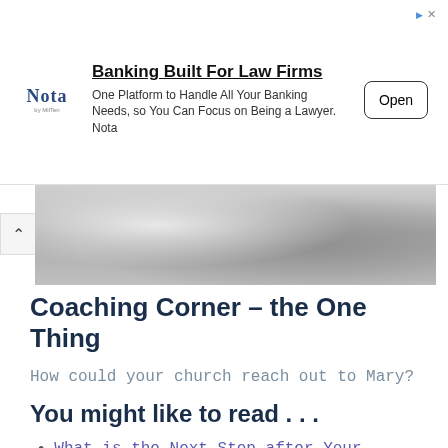[Figure (infographic): Advertisement banner for Nota banking service for law firms. Shows Nota logo, headline 'Banking Built For Law Firms', body text 'One Platform to Handle All Your Banking Needs, so You Can Focus on Being a Lawyer. Nota', and an Open button.]
[Figure (photo): Black and white photo strip showing what appears to be folded fabric or towels, partially visible.]
Coaching Corner – the One Thing
How could your church reach out to Mary?
You might like to read . . .
What is the Next Step after Your Halloween Outreach
What is the Church doing in the community?
Related posts: